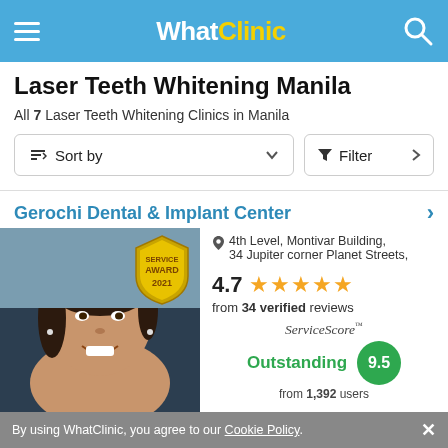WhatClinic
Laser Teeth Whitening Manila
All 7 Laser Teeth Whitening Clinics in Manila
Sort by | Filter
Gerochi Dental & Implant Center
[Figure (photo): Portrait photo of a smiling female dentist with dark hair, with a Service Award 2021 badge overlay]
4th Level, Montivar Building, 34 Jupiter corner Planet Streets,
4.7 from 34 verified reviews
ServiceScore Outstanding 9.5 from 1,392 users
By using WhatClinic, you agree to our Cookie Policy.